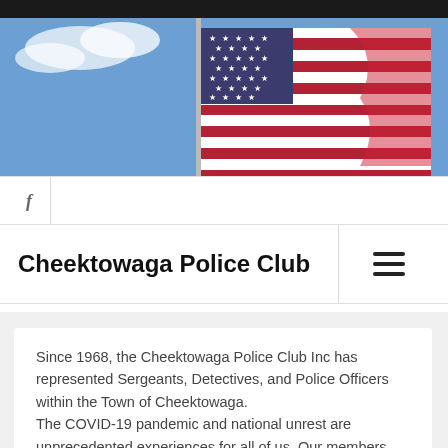[Figure (photo): American flag waving against a blue sky, used as the website header banner image]
f
Cheektowaga Police Club
Since 1968, the Cheektowaga Police Club Inc has represented Sergeants, Detectives, and Police Officers within the Town of Cheektowaga.
The COVID-19 pandemic and national unrest are unprecedented experiences for all of us. Our members, along with other first responders, have served on the front lines of police response, aided in medical emergencies, and managed the social landscape of 2020, while at the same time ensuring